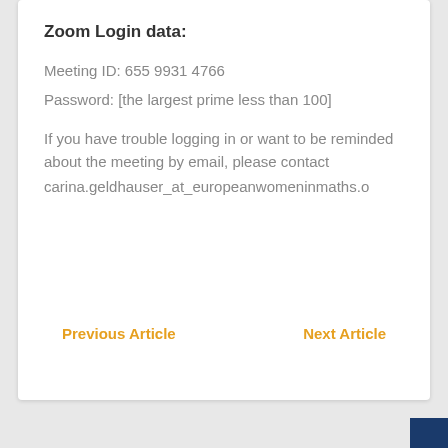Zoom Login data:
Meeting ID: 655 9931 4766
Password: [the largest prime less than 100]
If you have trouble logging in or want to be reminded about the meeting by email, please contact carina.geldhauser_at_europeanwomeninmaths.o…
Previous Article    Next Article